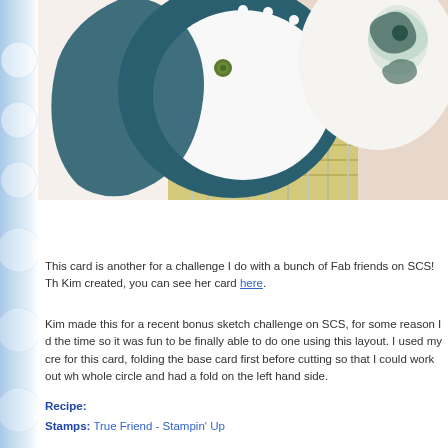[Figure (photo): Close-up photo of a handmade circular card showing teal/navy cardstock, yellow plaid patterned paper, a green brad/button, and floral decorative paper on a light pink background.]
This card is another for a challenge I do with a bunch of Fab friends on SCS! Th... Kim created, you can see her card here.
Kim made this for a recent bonus sketch challenge on SCS, for some reason I d... the time so it was fun to be finally able to do one using this layout. I used my cre... for this card, folding the base card first before cutting so that I could work out wh... whole circle and had a fold on the left hand side.
Recipe:
Stamps: True Friend - Stampin' Up